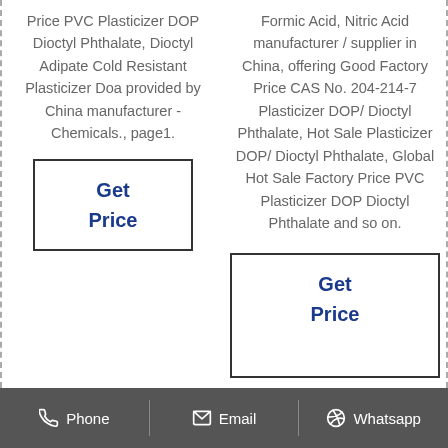Price PVC Plasticizer DOP Dioctyl Phthalate, Dioctyl Adipate Cold Resistant Plasticizer Doa provided by China manufacturer - Chemicals., page1.
Get Price
Formic Acid, Nitric Acid manufacturer / supplier in China, offering Good Factory Price CAS No. 204-214-7 Plasticizer DOP/ Dioctyl Phthalate, Hot Sale Plasticizer DOP/ Dioctyl Phthalate, Global Hot Sale Factory Price PVC Plasticizer DOP Dioctyl Phthalate and so on.
Get Price
Phone  Email  Whatsapp